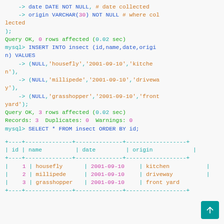-> date DATE NOT NULL, # date collected
    -> origin VARCHAR(30) NOT NULL # where collected
);
Query OK, 0 rows affected (0.02 sec)
mysql> INSERT INTO insect (id,name,date,origin) VALUES
    -> (NULL,'housefly','2001-09-10','kitchen'),
    -> (NULL,'millipede','2001-09-10','driveway'),
    -> (NULL,'grasshopper','2001-09-10','front yard');
Query OK, 3 rows affected (0.02 sec)
Records: 3  Duplicates: 0  Warnings: 0
mysql> SELECT * FROM insect ORDER BY id;
| id | name | date | origin |
| --- | --- | --- | --- |
| 1 | housefly | 2001-09-10 | kitchen |
| 2 | millipede | 2001-09-10 | driveway |
| 3 | grasshopper | 2001-09-10 | front yard |